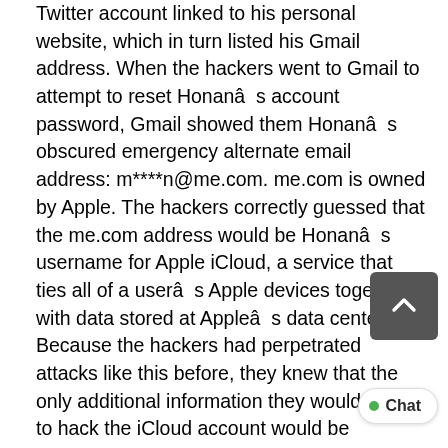Twitter account linked to his personal website, which in turn listed his Gmail address. When the hackers went to Gmail to attempt to reset Honanâs account password, Gmail showed them Honanâs obscured emergency alternate email address: m****n@me.com. me.com is owned by Apple. The hackers correctly guessed that the me.com address would be Honanâs username for Apple iCloud, a service that ties all of a userâs Apple devices together with data stored at Appleâs data centers. Because the hackers had perpetrated attacks like this before, they knew that the only additional information they would need to hack the iCloud account would be Honanâs mailing address and the last four digits of his credit card number. The mailing address was easy enough: They just searched the who is record for Honanâs website. To get the last four digits of the credit card, the hackers went to Amazon. They correctly assumed that